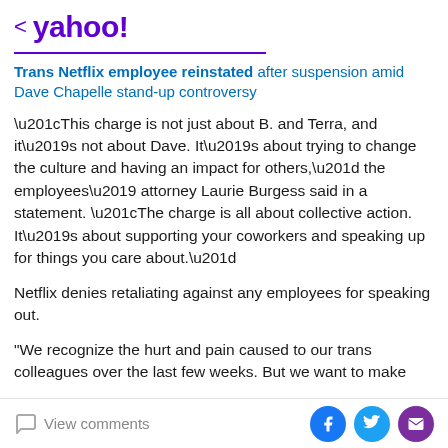< yahoo!
Trans Netflix employee reinstated after suspension amid Dave Chapelle stand-up controversy
“This charge is not just about B. and Terra, and it’s not about Dave. It’s about trying to change the culture and having an impact for others,” the employees’ attorney Laurie Burgess said in a statement. “The charge is all about collective action. It’s about supporting your coworkers and speaking up for things you care about.”
Netflix denies retaliating against any employees for speaking out.
“We recognize the hurt and pain caused to our trans colleagues over the last few weeks. But we want to make
View comments